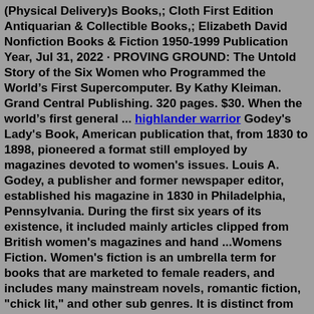(Physical Delivery)s Books,; Cloth First Edition Antiquarian & Collectible Books,; Elizabeth David Nonfiction Books & Fiction 1950-1999 Publication Year, Jul 31, 2022 · PROVING GROUND: The Untold Story of the Six Women who Programmed the World's First Supercomputer. By Kathy Kleiman. Grand Central Publishing. 320 pages. $30. When the world's first general ... highlander warrior Godey's Lady's Book, American publication that, from 1830 to 1898, pioneered a format still employed by magazines devoted to women's issues. Louis A. Godey, a publisher and former newspaper editor, established his magazine in 1830 in Philadelphia, Pennsylvania. During the first six years of its existence, it included mainly articles clipped from British women's magazines and hand ...Womens Fiction. Women's fiction is an umbrella term for books that are marketed to female readers, and includes many mainstream novels, romantic fiction, "chick lit," and other sub genres. It is distinct from Women's writing, which refers to literature written by (rather than